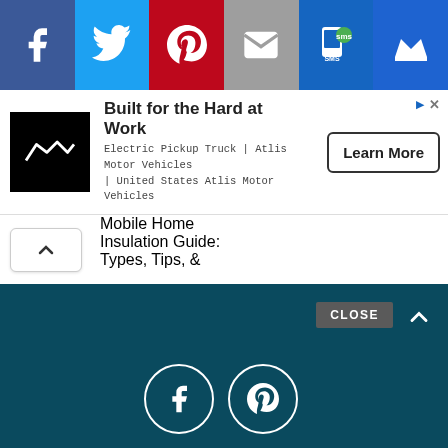[Figure (screenshot): Social share bar with Facebook, Twitter, Pinterest, Email, SMS, and Crown icons on colored backgrounds]
[Figure (screenshot): Advertisement banner for Atlis Motor Vehicles electric pickup truck with Learn More button]
Mobile Home Insulation Guide: Types, Tips, &
[Figure (screenshot): Dark teal footer bar with CLOSE button, Facebook and Pinterest circle icons, and scroll-up arrow]